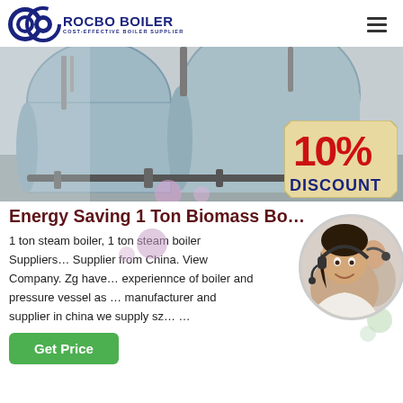[Figure (logo): Rocbo Boiler logo with circular C icon and text ROCBO BOILER / COST-EFFECTIVE BOILER SUPPLIER]
[Figure (photo): Industrial boiler room with large cylindrical steam boilers, pipes and valves. A 10% DISCOUNT badge overlaid in bottom right corner.]
Energy Saving 1 Ton Biomass Bo…
1 ton steam boiler, 1 ton steam boiler Suppliers… Supplier from China. View Company. Zg have… experiennce of boiler and pressure vessel as … manufacturer and supplier in china we supply sz… …
[Figure (photo): Customer service representative woman wearing headset, smiling, with another agent in background]
Get Price